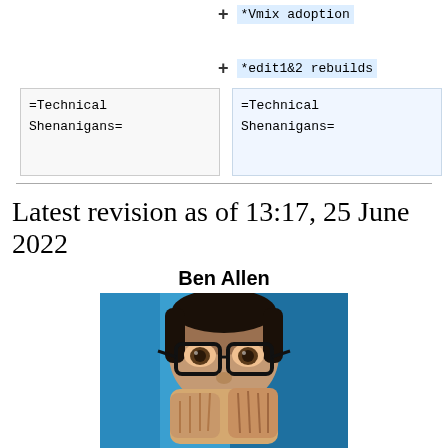+ *Vmix adoption
+ *edit1&2 rebuilds
=Technical Shenanigans=
=Technical Shenanigans=
Latest revision as of 13:17, 25 June 2022
Ben Allen
[Figure (photo): Photo of Ben Allen, a young man wearing black-rimmed glasses, with a blue background, hands near his face]